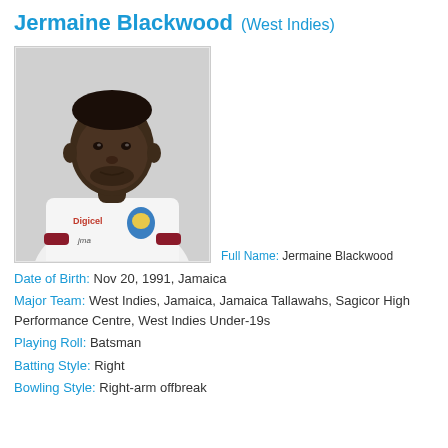Jermaine Blackwood (West Indies)
[Figure (photo): Headshot photo of Jermaine Blackwood wearing a white West Indies cricket jersey with Digicel sponsor logo and West Indies crest.]
Full Name: Jermaine Blackwood
Date of Birth: Nov 20, 1991, Jamaica
Major Team: West Indies, Jamaica, Jamaica Tallawahs, Sagicor High Performance Centre, West Indies Under-19s
Playing Roll: Batsman
Batting Style: Right
Bowling Style: Right-arm offbreak